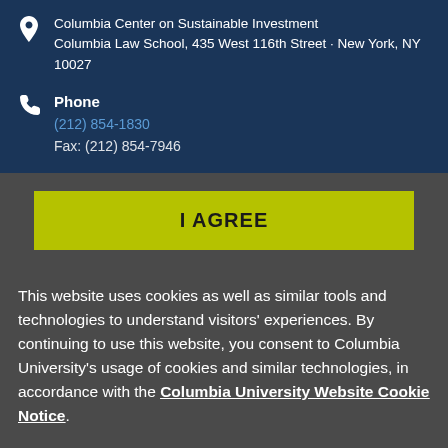Columbia Center on Sustainable Investment
Columbia Law School, 435 West 116th Street · New York, NY 10027
Phone
(212) 854-1830
Fax: (212) 854-7946
[Figure (other): I AGREE button with olive/yellow-green background]
This website uses cookies as well as similar tools and technologies to understand visitors' experiences. By continuing to use this website, you consent to Columbia University's usage of cookies and similar technologies, in accordance with the Columbia University Website Cookie Notice.